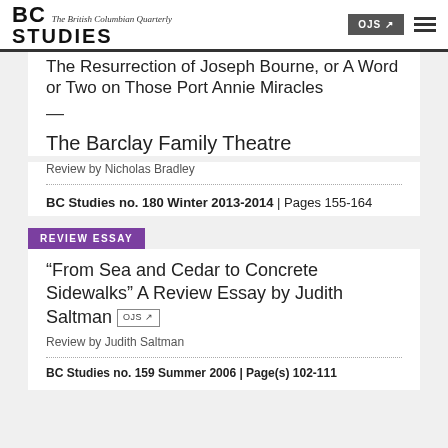BC STUDIES – The British Columbian Quarterly
The Resurrection of Joseph Bourne, or A Word or Two on Those Port Annie Miracles — The Barclay Family Theatre
Review by Nicholas Bradley
BC Studies no. 180 Winter 2013-2014 | Pages 155-164
REVIEW ESSAY
“From Sea and Cedar to Concrete Sidewalks” A Review Essay by Judith Saltman OJS
Review by Judith Saltman
BC Studies no. 159 Summer 2006 | Page(s) 102-111